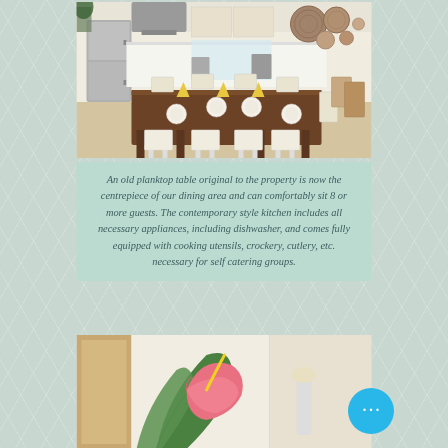[Figure (photo): Kitchen and dining area with a large wooden planktop table set for 8 guests, white chairs, modern kitchen with appliances in background, decorative woven plates on wall]
An old planktop table original to the property is now the centrepiece of our dining area and can comfortably sit 8 or more guests. The contemporary style kitchen includes all necessary appliances, including dishwasher, and comes fully equipped with cooking utensils, crockery, cutlery, etc. necessary for self catering groups.
[Figure (photo): Close-up photo of a pink flower (anthurium) with green leaves, partial view of a room with a mirror and light wall]